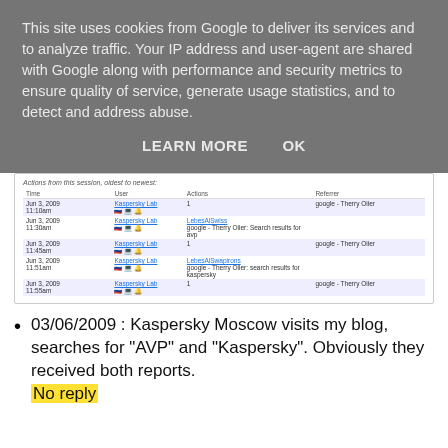This site uses cookies from Google to deliver its services and to analyze traffic. Your IP address and user-agent are shared with Google along with performance and security metrics to ensure quality of service, generate usage statistics, and to detect and address abuse.
LEARN MORE    OK
[Figure (screenshot): Screenshot of a session activity table with columns: Time, User, Action, Referrer. Contains 5 rows of activity from Jun 3 2009 showing Kaspersky Lab visits with actions including search results for AVP and Kaspersky.]
03/06/2009 : Kaspersky Moscow visits my blog, searches for "AVP" and "Kaspersky". Obviously they received both reports.
No reply